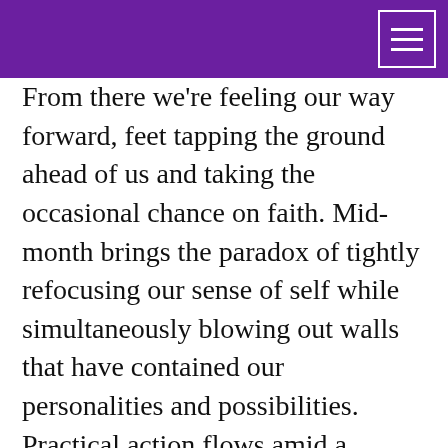From there we're feeling our way forward, feet tapping the ground ahead of us and taking the occasional chance on faith. Mid-month brings the paradox of tightly refocusing our sense of self while simultaneously blowing out walls that have contained our personalities and possibilities. Practical action flows amid a meeting between the Sun and retrograde Mercury (on March 14), which could inspire letting ourselves off the hook, or bring home the personal meaning of Chiron at the end of thwe zodiac, or blur understanding of ourselves.
Mercury's trickster ways hit critical mass when a square from Jupiter approaches him, or on the ld...